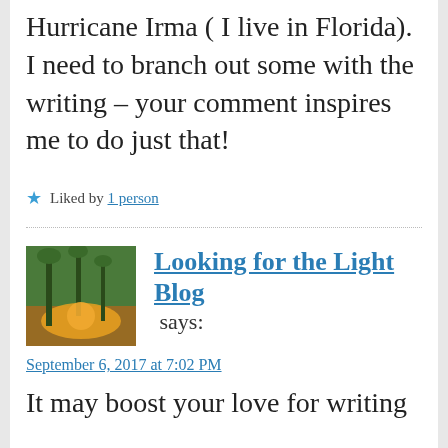Hurricane Irma ( I live in Florida). I need to branch out some with the writing – your comment inspires me to do just that!
★ Liked by 1 person
Looking for the Light Blog says:
September 6, 2017 at 7:02 PM
It may boost your love for writing